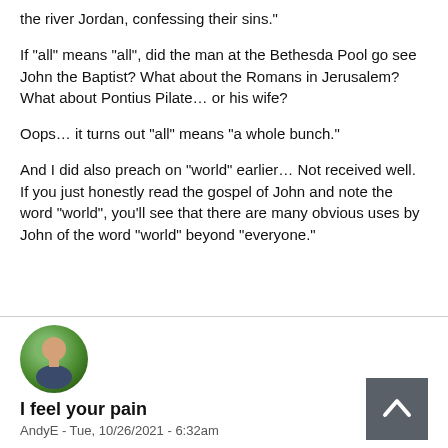the river Jordan, confessing their sins."
If "all" means "all", did the man at the Bethesda Pool go see John the Baptist? What about the Romans in Jerusalem? What about Pontius Pilate… or his wife?
Oops… it turns out "all" means "a whole bunch."
And I did also preach on "world" earlier… Not received well. If you just honestly read the gospel of John and note the word "world", you'll see that there are many obvious uses by John of the word "world" beyond "everyone."
I feel your pain
AndyE - Tue, 10/26/2021 - 6:32am